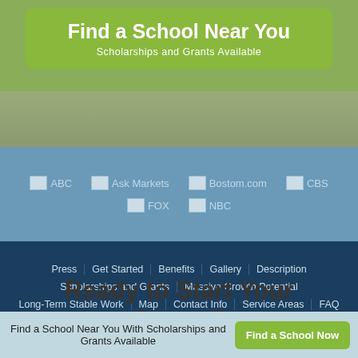Find a School Near You
Scholarships and Grants Available
[Figure (illustration): Background photo of a child studying with blurred school/educational imagery]
[Figure (logo): Media logos: ABC, Ask Markets, Bostom.com, CBS, FOX, NBC]
Press  Get Started  Benefits  Gallery  Description  Scholarships and Grants  Massive Growth Potential  Long-Term Stable Work  Map  Contact Info  Service Areas  FAQ
Ready to Start Your Career?
Find a School Near You With Scholarships and Grants Available
Find a School Now